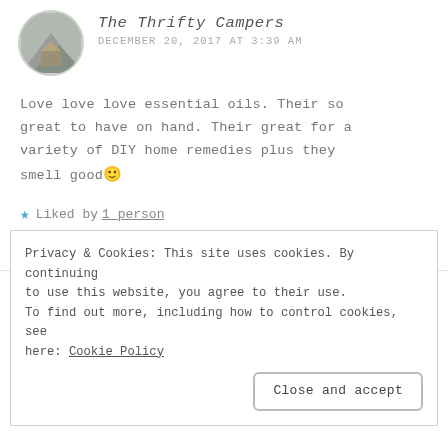The Thrifty Campers
DECEMBER 20, 2017 AT 3:39 AM
Love love love essential oils. Their so great to have on hand. Their great for a variety of DIY home remedies plus they smell good🙂
★ Liked by 1 person
Reply
Privacy & Cookies: This site uses cookies. By continuing to use this website, you agree to their use.
To find out more, including how to control cookies, see here: Cookie Policy
Close and accept